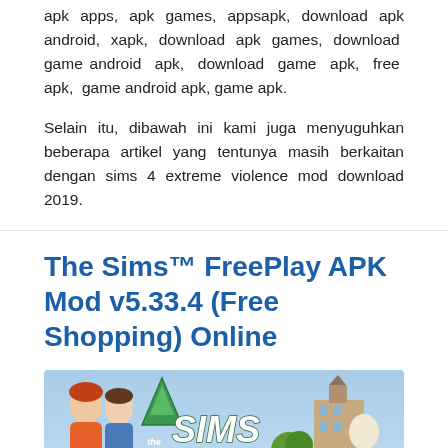apk apps, apk games, appsapk, download apk android, xapk, download apk games, download game android apk, download game apk, free apk, game android apk, game apk.
Selain itu, dibawah ini kami juga menyuguhkan beberapa artikel yang tentunya masih berkaitan dengan sims 4 extreme violence mod download 2019.
The Sims™ FreePlay APK Mod v5.33.4 (Free Shopping) Online
[Figure (illustration): The Sims FreePlay game banner showing cartoon characters (a woman in orange top and a man in blue shirt) on the left, a green triangle/diamond logo, 'THE SIMS' text in white, 'FREEPLAY' text in orange, and a game world background with buildings and greenery on the right.]